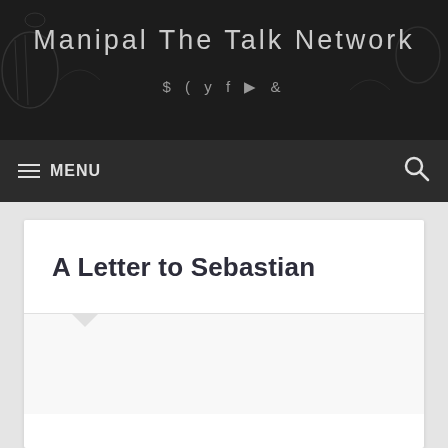Manipal The Talk Network
≡ MENU
A Letter to Sebastian